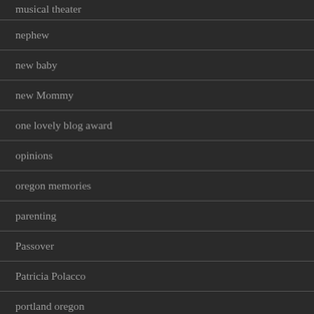musical theater
nephew
new baby
new Mommy
one lovely blog award
opinions
oregon memories
parenting
Passover
Patricia Polacco
portland oregon